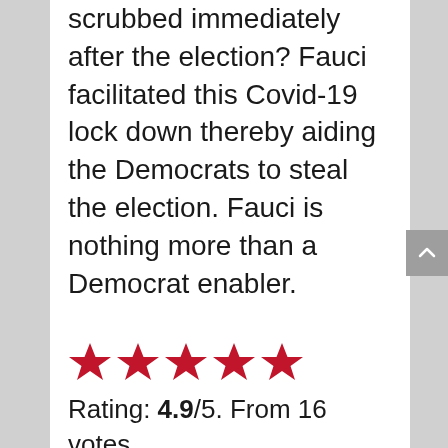scrubbed immediately after the election? Fauci facilitated this Covid-19 lock down thereby aiding the Democrats to steal the election. Fauci is nothing more than a Democrat enabler.
[Figure (other): Five red stars rating display]
Rating: 4.9/5. From 16 votes.